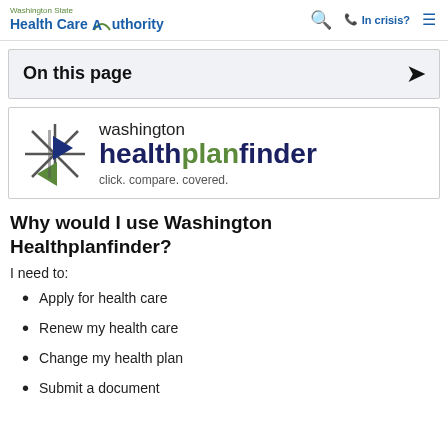Washington State Health Care Authority | In crisis?
On this page
[Figure (logo): Washington Healthplanfinder logo with starburst/arrow icon, text 'washington healthplanfinder click. compare. covered.']
Why would I use Washington Healthplanfinder?
I need to:
Apply for health care
Renew my health care
Change my health plan
Submit a document